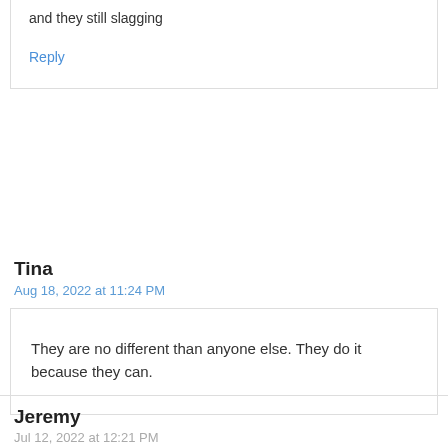and they still slagging
Reply
Tina
Aug 18, 2022 at 11:24 PM
They are no different than anyone else. They do it because they can.
Jeremy
Jul 12, 2022 at 12:21 PM